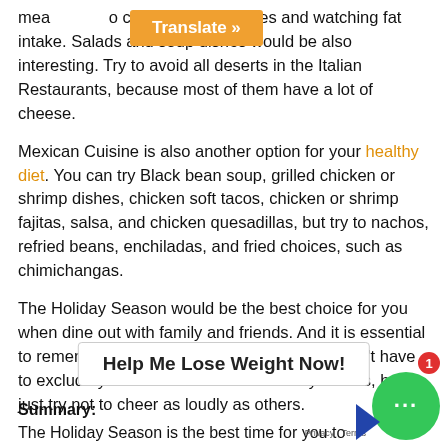means committing to cutting down calories and watching fat intake. Salads and soup dishes would be also interesting. Try to avoid all deserts in the Italian Restaurants, because most of them have a lot of cheese.
Mexican Cuisine is also another option for your healthy diet. You can try Black bean soup, grilled chicken or shrimp dishes, chicken soft tacos, chicken or shrimp fajitas, salsa, and chicken quesadillas, but try to nachos, refried beans, enchiladas, and fried choices, such as chimichangas.
The Holiday Season would be the best choice for you when dine out with family and friends. And it is essential to remember that while you are on diet, you don't have to exclude yourself from all of the holiday cheers, but just try not to cheer as loudly as others.
Help Me Lose Weight Now!
Summary:
The Holiday Season is the best time for you to